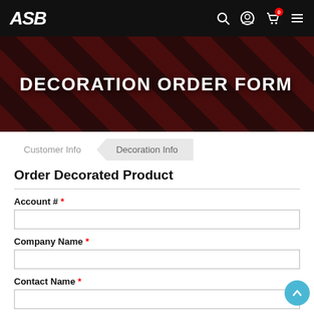ASB
[Figure (photo): Banner image showing decorated products with text overlay 'DECORATION ORDER FORM']
Order Decorated Product
Customer Info | Decoration Info
Account # *
Company Name *
Contact Name *